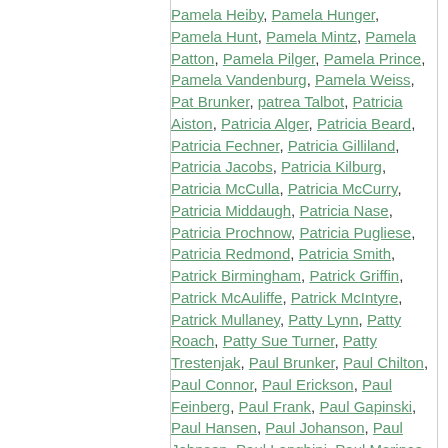Pamela Heiby, Pamela Hunger, Pamela Hunt, Pamela Mintz, Pamela Patton, Pamela Pilger, Pamela Prince, Pamela Vandenburg, Pamela Weiss, Pat Brunker, patrea Talbot, Patricia Aiston, Patricia Alger, Patricia Beard, Patricia Fechner, Patricia Gilliland, Patricia Jacobs, Patricia Kilburg, Patricia McCulla, Patricia McCurry, Patricia Middaugh, Patricia Nase, Patricia Prochnow, Patricia Pugliese, Patricia Redmond, Patricia Smith, Patrick Birmingham, Patrick Griffin, Patrick McAuliffe, Patrick McIntyre, Patrick Mullaney, Patty Lynn, Patty Roach, Patty Sue Turner, Patty Trestenjak, Paul Brunker, Paul Chilton, Paul Connor, Paul Erickson, Paul Feinberg, Paul Frank, Paul Gapinski, Paul Hansen, Paul Johanson, Paul Johnson, Paul Longhini, Paul Marince, Paul Marks, Paul Mathews, Paul Reich, Paul Reidy, Paul Sager, Paul Schencker, Paul Sedlacek, Paul Seifried, Paul Theiss, Paul Walchli, Paula Epstein, Paula Pugliese, Paula Winslow, Peggy Phelan, Peggy Walz, Penny Prellberg, Perry Crakes, Perry Ray, Peter Berkowitz, Peter Caruso, Peter Cooper, Peter Czolowski, Peter Fradin, Peter Hansen, Peter Herman, Peter J, Peter Manhard, Peter Miller, Peter Mitchell, Peter Nelson, Peter Oines, Peter